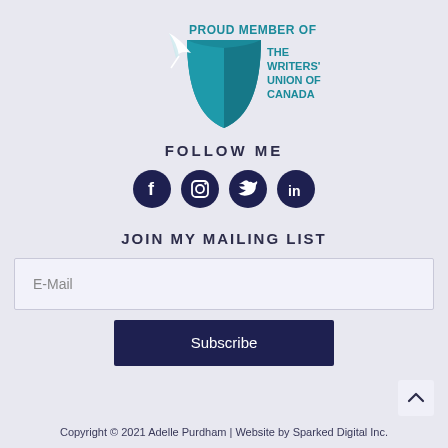[Figure (logo): Writers' Union of Canada logo with teal open book and quill feather, with text PROUD MEMBER OF THE WRITERS' UNION OF CANADA]
FOLLOW ME
[Figure (infographic): Four dark navy circular social media icons: Facebook, Instagram, Twitter, LinkedIn]
JOIN MY MAILING LIST
E-Mail
Subscribe
Copyright © 2021 Adelle Purdham | Website by Sparked Digital Inc.